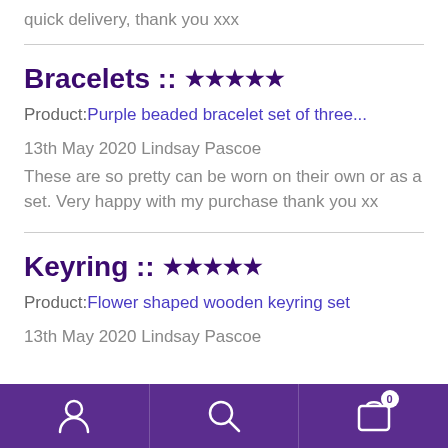quick delivery, thank you xxx
Bracelets :: ★★★★★
Product: Purple beaded bracelet set of three…
13th May 2020 Lindsay Pascoe
These are so pretty can be worn on their own or as a set. Very happy with my purchase thank you xx
Keyring :: ★★★★★
Product: Flower shaped wooden keyring set
13th May 2020 Lindsay Pascoe
Navigation bar with user, search, and cart icons